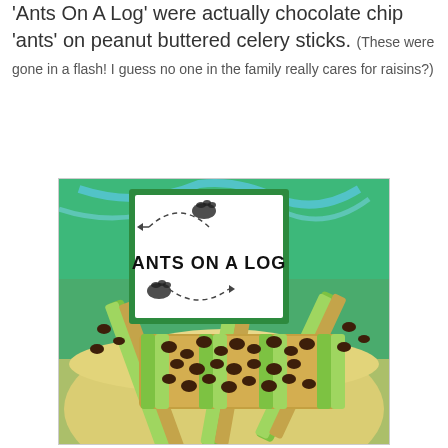'Ants On A Log' were actually chocolate chip 'ants' on peanut buttered celery sticks. (These were gone in a flash! I guess no one in the family really cares for raisins?)
[Figure (photo): Photo of celery sticks filled with peanut butter and topped with chocolate chips arranged on a tray, with a sign reading 'ANTS ON A LOG' featuring footprint graphics and dashed trail arrows.]